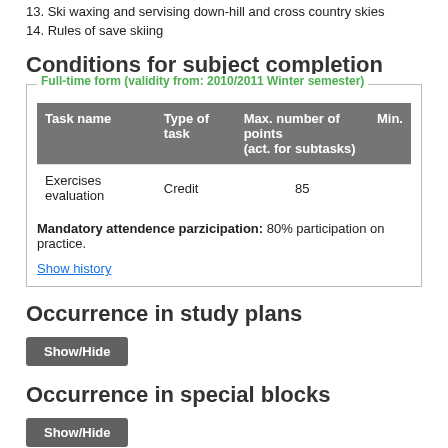13. Ski waxing and servising down-hill and cross country skies
14. Rules of save skiing
Conditions for subject completion
Full-time form (validity from: 2010/2011 Winter semester)
| Task name | Type of task | Max. number of points (act. for subtasks) | Min. |
| --- | --- | --- | --- |
| Exercises evaluation | Credit | 85 |  |
Mandatory attendence parzicipation: 80% participation on practice.
Show history
Occurrence in study plans
Show/Hide
Occurrence in special blocks
Show/Hide